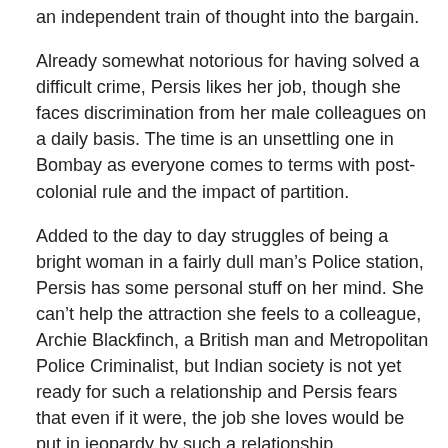an independent train of thought into the bargain.
Already somewhat notorious for having solved a difficult crime, Persis likes her job, though she faces discrimination from her male colleagues on a daily basis. The time is an unsettling one in Bombay as everyone comes to terms with post-colonial rule and the impact of partition.
Added to the day to day struggles of being a bright woman in a fairly dull man’s Police station, Persis has some personal stuff on her mind. She can’t help the attraction she feels to a colleague, Archie Blackfinch, a British man and Metropolitan Police Criminalist, but Indian society is not yet ready for such a relationship and Persis fears that even if it were, the job she loves would be put in jeopardy by such a relationship.